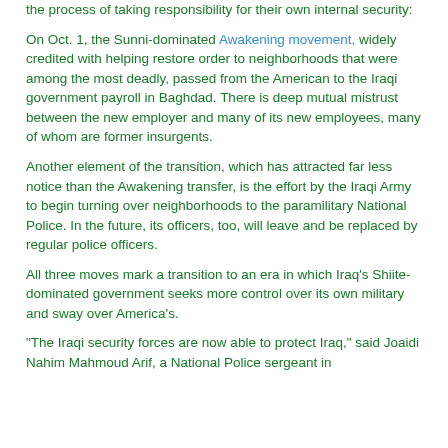the process of taking responsibility for their own internal security:
On Oct. 1, the Sunni-dominated Awakening movement, widely credited with helping restore order to neighborhoods that were among the most deadly, passed from the American to the Iraqi government payroll in Baghdad. There is deep mutual mistrust between the new employer and many of its new employees, many of whom are former insurgents.
Another element of the transition, which has attracted far less notice than the Awakening transfer, is the effort by the Iraqi Army to begin turning over neighborhoods to the paramilitary National Police. In the future, its officers, too, will leave and be replaced by regular police officers.
All three moves mark a transition to an era in which Iraq's Shiite-dominated government seeks more control over its own military and sway over America's.
"The Iraqi security forces are now able to protect Iraq," said Joaidi Nahim Mahmoud Arif, a National Police sergeant in